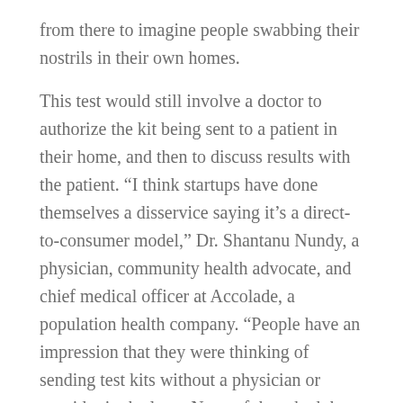from there to imagine people swabbing their nostrils in their own homes.
This test would still involve a doctor to authorize the kit being sent to a patient in their home, and then to discuss results with the patient. “I think startups have done themselves a disservice saying it’s a direct-to-consumer model,” Dr. Shantanu Nundy, a physician, community health advocate, and chief medical officer at Accolade, a population health company. “People have an impression that they were thinking of sending test kits without a physician or provider in the loop. None of them had that intent.”